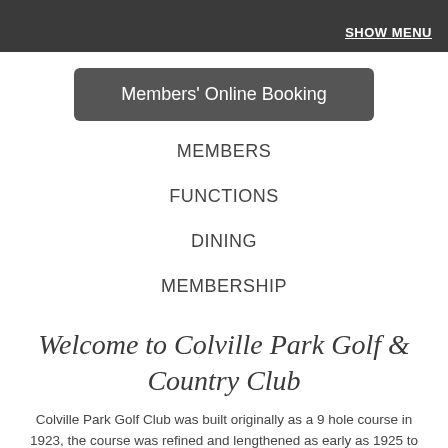SHOW MENU
Members' Online Booking
MEMBERS
FUNCTIONS
DINING
MEMBERSHIP
Welcome to Colville Park Golf & Country Club
Colville Park Golf Club was built originally as a 9 hole course in 1923, the course was refined and lengthened as early as 1925 to the 18 holes you can see today by the renowned golf course designer James Braid. The Club lies between the M8 and the M74